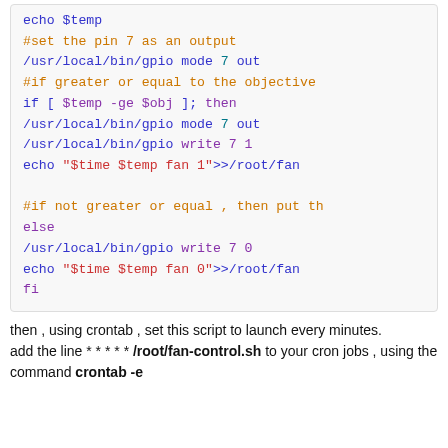[Figure (screenshot): Shell script code block showing bash commands for GPIO fan control including echo, gpio mode, if/else conditionals, and fi]
then , using crontab , set this script to launch every minutes.
add the line * * * * * /root/fan-control.sh to your cron jobs , using the command crontab -e